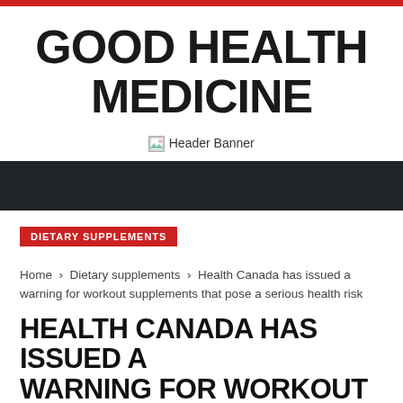GOOD HEALTH MEDICINE
[Figure (illustration): Header Banner image placeholder with broken image icon and alt text 'Header Banner']
DIETARY SUPPLEMENTS
Home › Dietary supplements › Health Canada has issued a warning for workout supplements that pose a serious health risk
HEALTH CANADA HAS ISSUED A WARNING FOR WORKOUT